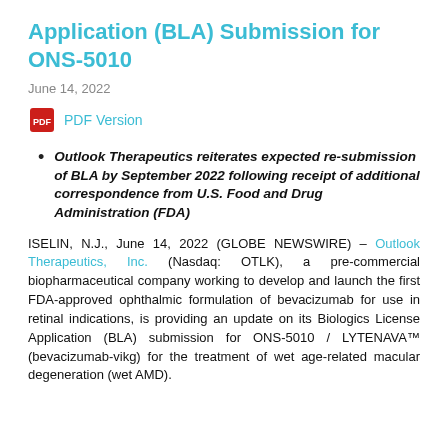Application (BLA) Submission for ONS-5010
June 14, 2022
[Figure (other): PDF icon with link text 'PDF Version']
Outlook Therapeutics reiterates expected re-submission of BLA by September 2022 following receipt of additional correspondence from U.S. Food and Drug Administration (FDA)
ISELIN, N.J., June 14, 2022 (GLOBE NEWSWIRE) – Outlook Therapeutics, Inc. (Nasdaq: OTLK), a pre-commercial biopharmaceutical company working to develop and launch the first FDA-approved ophthalmic formulation of bevacizumab for use in retinal indications, is providing an update on its Biologics License Application (BLA) submission for ONS-5010 / LYTENAVA™ (bevacizumab-vikg) for the treatment of wet age-related macular degeneration (wet AMD).